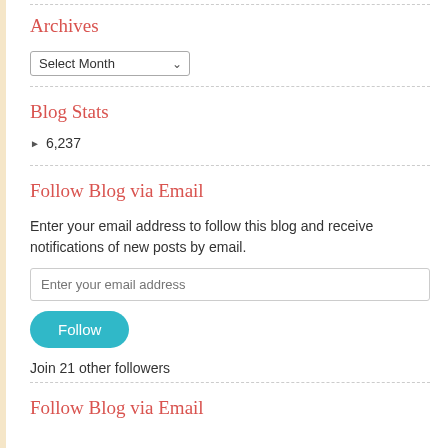Archives
Select Month
Blog Stats
6,237
Follow Blog via Email
Enter your email address to follow this blog and receive notifications of new posts by email.
Enter your email address
Follow
Join 21 other followers
Follow Blog via Email